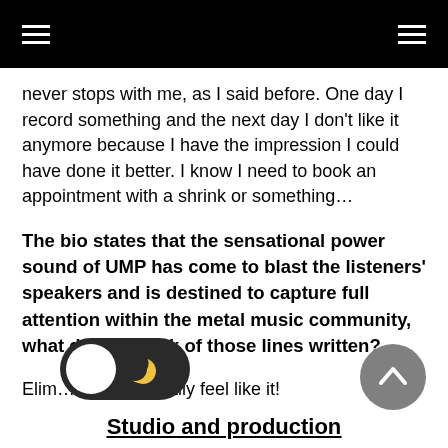navigation header with hamburger menus
never stops with me, as I said before. One day I record something and the next day I don't like it anymore because I have the impression I could have done it better. I know I need to book an appointment with a shrink or something…
The bio states that the sensational power sound of UMP has come to blast the listeners' speakers and is destined to capture full attention within the metal music community, what do you think of those lines written?
Elim… Elim… I totally feel like it!
Studio and production